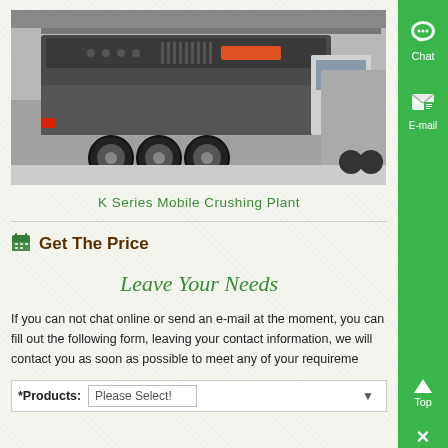[Figure (photo): K Series Mobile Crushing Plant mounted on a truck, photographed in an industrial facility. The machine is large, grey/dark colored with multiple large wheels/tires visible underneath.]
K Series Mobile Crushing Plant
Get The Price
Leave Your Needs
If you can not chat online or send an e-mail at the moment, you can fill out the following form, leaving your contact information, we will contact you as soon as possible to meet any of your requirements.
| *Products: | Please Select! |
| --- | --- |